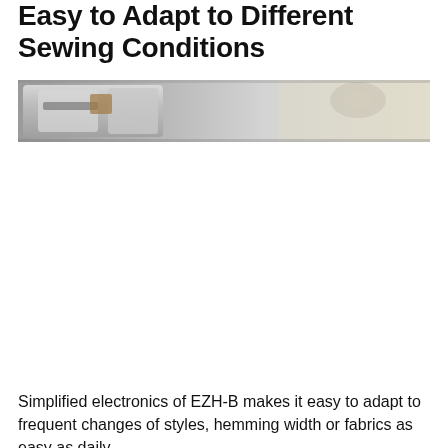Easy to Adapt to Different Sewing Conditions
[Figure (photo): Close-up photograph of a sewing machine metal parts and fabric/thread roll, metallic silver components visible with a beige/cream background]
Simplified electronics of EZH-B makes it easy to adapt to frequent changes of styles, hemming width or fabrics as easy as daily